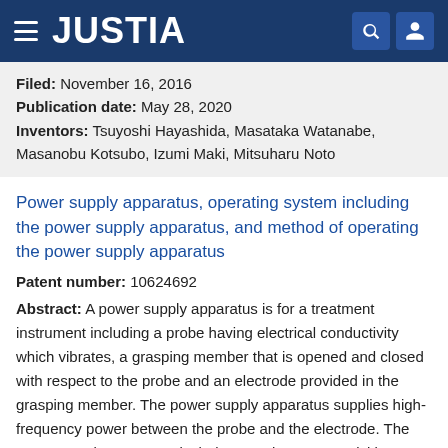JUSTIA
Filed: November 16, 2016
Publication date: May 28, 2020
Inventors: Tsuyoshi Hayashida, Masataka Watanabe, Masanobu Kotsubo, Izumi Maki, Mitsuharu Noto
Power supply apparatus, operating system including the power supply apparatus, and method of operating the power supply apparatus
Patent number: 10624692
Abstract: A power supply apparatus is for a treatment instrument including a probe having electrical conductivity which vibrates, a grasping member that is opened and closed with respect to the probe and an electrode provided in the grasping member. The power supply apparatus supplies high-frequency power between the probe and the electrode. The power supply apparatus includes a resistance acquisition circuit which